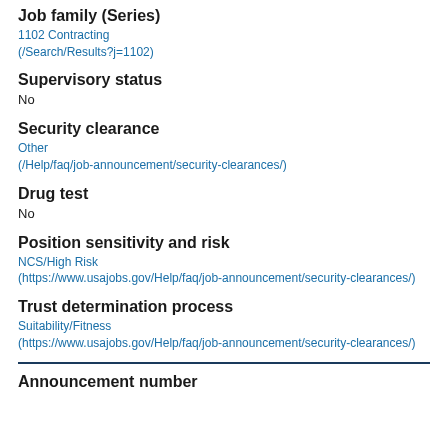Job family (Series)
1102 Contracting (/Search/Results?j=1102)
Supervisory status
No
Security clearance
Other (/Help/faq/job-announcement/security-clearances/)
Drug test
No
Position sensitivity and risk
NCS/High Risk (https://www.usajobs.gov/Help/faq/job-announcement/security-clearances/)
Trust determination process
Suitability/Fitness (https://www.usajobs.gov/Help/faq/job-announcement/security-clearances/)
Announcement number